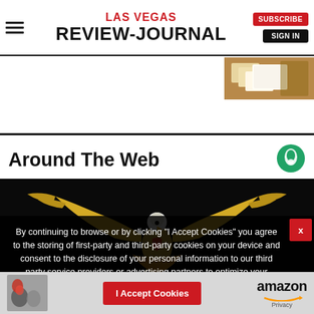LAS VEGAS REVIEW-JOURNAL
[Figure (photo): Small thumbnail image of playing cards/envelopes on a table, top right corner]
Around The Web
[Figure (logo): Taboola logo - green circular icon top right of Around The Web section]
[Figure (illustration): Golden eagle with spread wings on black background - digital illustration]
By continuing to browse or by clicking “I Accept Cookies” you agree to the storing of first-party and third-party cookies on your device and consent to the disclosure of your personal information to our third party service providers or advertising partners to optimize your experience, analyze traffic and personalize content.
[Figure (logo): Amazon logo with smile arrow underneath]
I Accept Cookies
Privacy